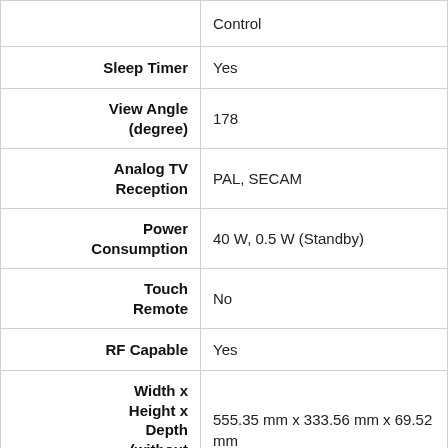| Feature | Value |
| --- | --- |
| Control |  |
| Sleep Timer | Yes |
| View Angle (degree) | 178 |
| Analog TV Reception | PAL, SECAM |
| Power Consumption | 40 W, 0.5 W (Standby) |
| Touch Remote | No |
| RF Capable | Yes |
| Width x Height x Depth (without stand) | 555.35 mm x 333.56 mm x 69.52 mm |